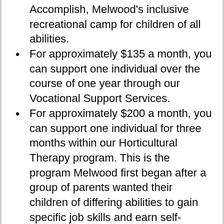Accomplish, Melwood's inclusive recreational camp for children of all abilities.
For approximately $135 a month, you can support one individual over the course of one year through our Vocational Support Services.
For approximately $200 a month, you can support one individual for three months within our Horticultural Therapy program. This is the program Melwood first began after a group of parents wanted their children of differing abilities to gain specific job skills and earn self-generated income.
For approximately $325 a month, you can support one veteran through a 7--day retreat session at Operation Tohidu®, an innovative therapeutic approach to reintegrate veterans into the civilian world and workforce.